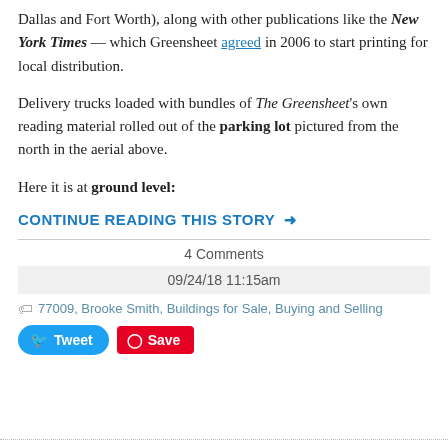Dallas and Fort Worth), along with other publications like the New York Times — which Greensheet agreed in 2006 to start printing for local distribution.
Delivery trucks loaded with bundles of The Greensheet's own reading material rolled out of the parking lot pictured from the north in the aerial above.
Here it is at ground level:
CONTINUE READING THIS STORY →
4 Comments
09/24/18 11:15am
77009, Brooke Smith, Buildings for Sale, Buying and Selling
Tweet
Save